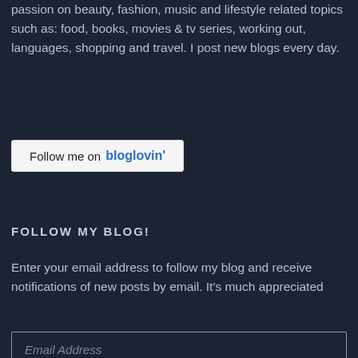passion on beauty, fashion, music and lifestyle related topics such as: food, books, movies & tv series, working out, languages, shopping and travel. I post new blogs every day.
[Figure (other): Follow me on bloglovin' button — a rectangular badge with white/light background, text 'Follow me on' in dark, 'bloglovin'' in blue bold]
FOLLOW MY BLOG!
Enter your email address to follow my blog and receive notifications of new posts by email. It's much appreciated
Email Address